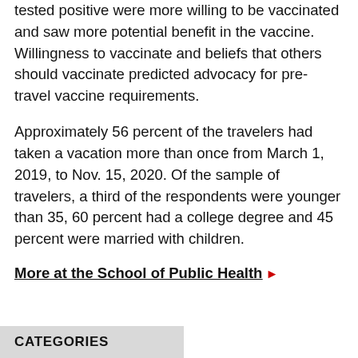tested positive were more willing to be vaccinated and saw more potential benefit in the vaccine. Willingness to vaccinate and beliefs that others should vaccinate predicted advocacy for pre-travel vaccine requirements.
Approximately 56 percent of the travelers had taken a vacation more than once from March 1, 2019, to Nov. 15, 2020. Of the sample of travelers, a third of the respondents were younger than 35, 60 percent had a college degree and 45 percent were married with children.
More at the School of Public Health ▶
CATEGORIES